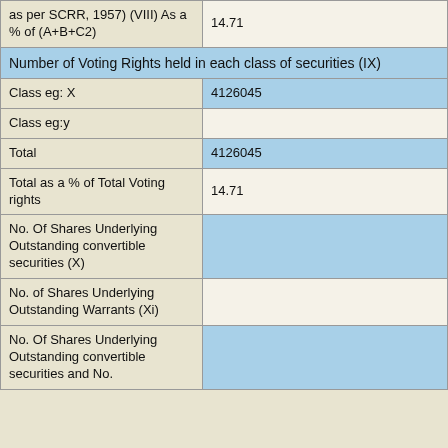| Field | Value |
| --- | --- |
| as per SCRR, 1957) (VIII) As a % of (A+B+C2) | 14.71 |
| Number of Voting Rights held in each class of securities (IX) |  |
| Class eg: X | 4126045 |
| Class eg:y |  |
| Total | 4126045 |
| Total as a % of Total Voting rights | 14.71 |
| No. Of Shares Underlying Outstanding convertible securities (X) |  |
| No. of Shares Underlying Outstanding Warrants (Xi) |  |
| No. Of Shares Underlying Outstanding convertible securities and No. |  |